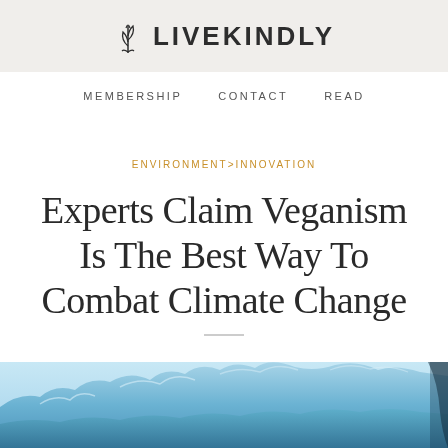LIVEKINDLY
MEMBERSHIP   CONTACT   READ
ENVIRONMENT>INNOVATION
Experts Claim Veganism Is The Best Way To Combat Climate Change
[Figure (photo): Glacier/ice formation with blue tones at the bottom of the page]